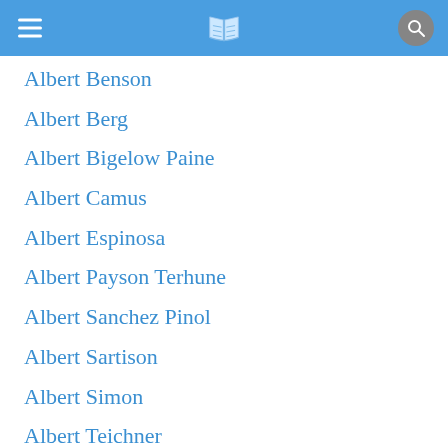Book directory app header with menu, book icon, and search button
Albert Benson
Albert Berg
Albert Bigelow Paine
Albert Camus
Albert Espinosa
Albert Payson Terhune
Albert Sanchez Pinol
Albert Sartison
Albert Simon
Albert Teichner
Albert Yates
Alberto Baston
Alberto Moravia
Alden Bell